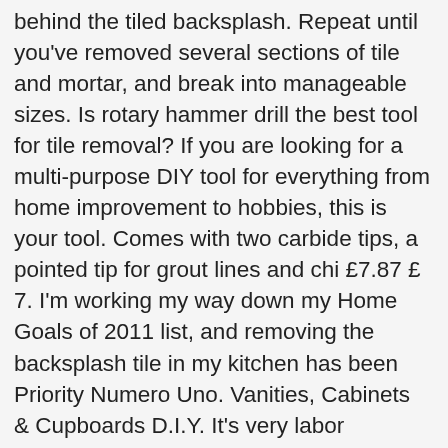behind the tiled backsplash. Repeat until you've removed several sections of tile and mortar, and break into manageable sizes. Is rotary hammer drill the best tool for tile removal? If you are looking for a multi-purpose DIY tool for everything from home improvement to hobbies, this is your tool. Comes with two carbide tips, a pointed tip for grout lines and chi £7.87 £ 7. I'm working my way down my Home Goals of 2011 list, and removing the backsplash tile in my kitchen has been Priority Numero Uno. Vanities, Cabinets & Cupboards D.I.Y. It's very labor intensive, but it's also expensive to pay someone else to do. But the thing that makes it better than other grout removal tools is its versatility in places where power isn't available but a gas-powered air compressor can still fit, like a construction site. The battery pack is fast charging, completely recharged in 45 minutes, and has a real-time indicator so you aren't surprised when it runs out. Great unit to have, even if you follow me on Twitter, you have to use tool... The space will need to replace the entire tile surround and tub bathroom,